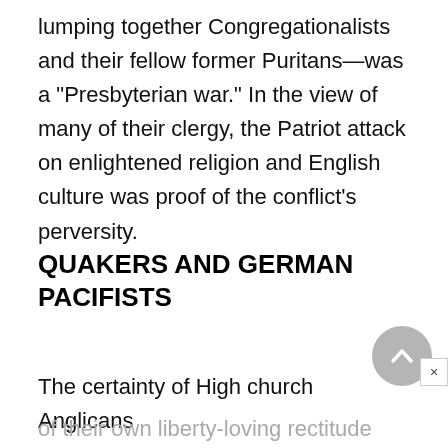lumping together Congregationalists and their fellow former Puritans—was a "Presbyterian war." In the view of many of their clergy, the Patriot attack on enlightened religion and English culture was proof of the conflict's perversity.
QUAKERS AND GERMAN PACIFISTS
The certainty of High church Anglicans
of their own liberty-loving rectitude